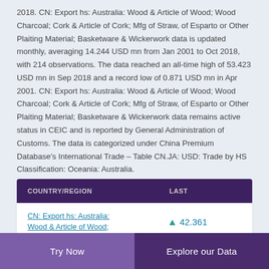2018. CN: Export hs: Australia: Wood & Article of Wood; Wood Charcoal; Cork & Article of Cork; Mfg of Straw, of Esparto or Other Plaiting Material; Basketware & Wickerwork data is updated monthly, averaging 14.244 USD mn from Jan 2001 to Oct 2018, with 214 observations. The data reached an all-time high of 53.423 USD mn in Sep 2018 and a record low of 0.871 USD mn in Apr 2001. CN: Export hs: Australia: Wood & Article of Wood; Wood Charcoal; Cork & Article of Cork; Mfg of Straw, of Esparto or Other Plaiting Material; Basketware & Wickerwork data remains active status in CEIC and is reported by General Administration of Customs. The data is categorized under China Premium Database's International Trade – Table CN.JA: USD: Trade by HS Classification: Oceania: Australia.
| COUNTRY/REGION | LAST |
| --- | --- |
| CN: Export hs: Australia: Wood & Article of Wood; | 42.361 |
Try Now    Explore our Data